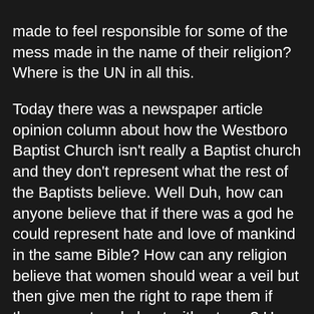made to feel responsible for some of the mess made in the name of their religion?  Where is the UN in all this.
Today there was a newspaper article opinion column about how the Westboro Baptist Church isn't really a Baptist church and they don't represent what the rest of the Baptists believe.  Well Duh, how can anyone believe that if there was a god he could represent hate and love of mankind in the same Bible?   How can any religion believe that women should wear a veil but then give men the right to rape them if they are out and about without one?   How can we turn Freedom of Religion into Freedom from Religion in our lives.  We can put "In god we trust." on our currency but kids can't pray in school.
Where did we as a society turn our lives into such a mess?  We have a great device to share ideas (Facebook) but all people want to do is post ideas